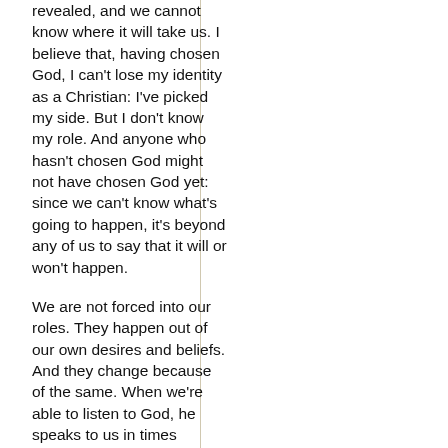revealed, and we cannot know where it will take us. I believe that, having chosen God, I can't lose my identity as a Christian: I've picked my side. But I don't know my role. And anyone who hasn't chosen God might not have chosen God yet: since we can't know what's going to happen, it's beyond any of us to say that it will or won't happen.
We are not forced into our roles. They happen out of our own desires and beliefs. And they change because of the same. When we're able to listen to God, he speaks to us in times